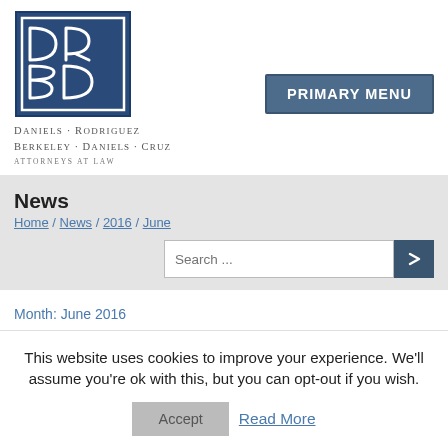[Figure (logo): DRBD law firm logo — dark blue square with stylized interlocking letters DR and BD in white]
Daniels · Rodriguez
Berkeley · Daniels · Cruz
ATTORNEYS AT LAW
PRIMARY MENU
News
Home / News / 2016 / June
Search ...
Month: June 2016
This website uses cookies to improve your experience. We'll assume you're ok with this, but you can opt-out if you wish.
Accept
Read More